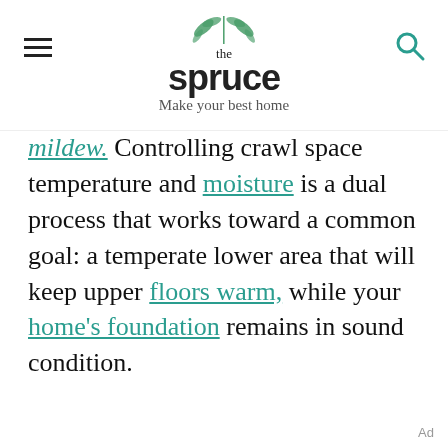the spruce — Make your best home
mildew. Controlling crawl space temperature and moisture is a dual process that works toward a common goal: a temperate lower area that will keep upper floors warm, while your home's foundation remains in sound condition.
Ad